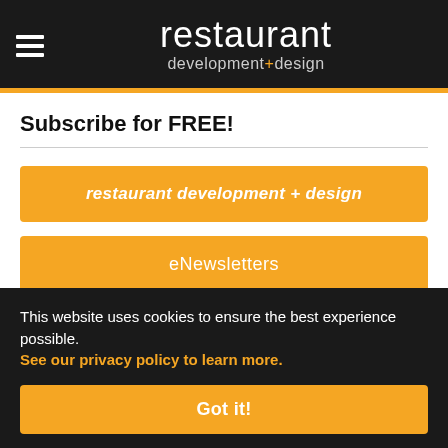restaurant development + design
Subscribe for FREE!
restaurant development + design
eNewsletters
Advertisement
[Figure (screenshot): Advertisement banner with green and blue background showing '9/12 THRU 9/14' and 'REQUEST' text]
This website uses cookies to ensure the best experience possible. See our privacy policy to learn more.
Got it!